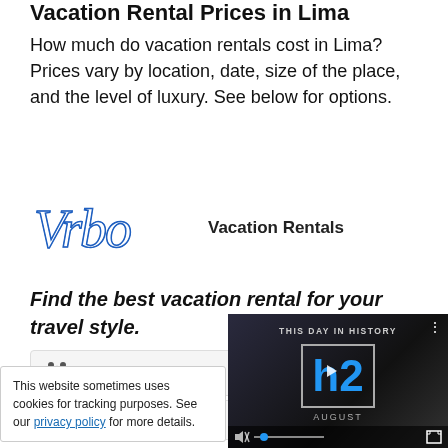Vacation Rental Prices in Lima
How much do vacation rentals cost in Lima? Prices vary by location, date, size of the place, and the level of luxury. See below for options.
[Figure (logo): Vrbo logo in blue decorative font, followed by bold text 'Vacation Rentals']
Find the best vacation rental for your travel style.
Family-Friendly
Pet Friendly
[Figure (screenshot): Video overlay showing 'This Day in History' with H2 logo, August date, play button, and video controls]
This website sometimes uses cookies for tracking purposes. See our privacy policy for more details.